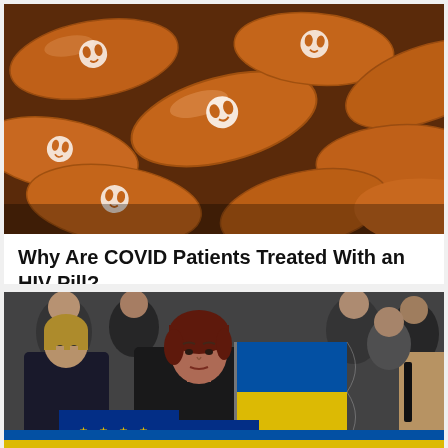[Figure (photo): Close-up photograph of brown capsule pills/tablets with white printed markings on them, scattered together]
Why Are COVID Patients Treated With an HIV Pill?
August 7, 2022
[Figure (photo): Photograph of people at a protest or gathering, including a woman holding a Ukrainian flag (blue and yellow) and a European Union flag (blue with yellow stars). Multiple people visible in background.]